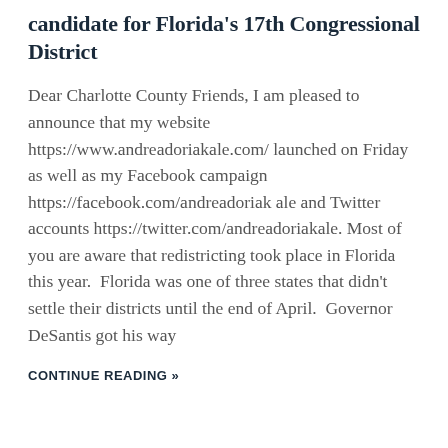candidate for Florida's 17th Congressional District
Dear Charlotte County Friends, I am pleased to announce that my website https://www.andreadoriakale.com/ launched on Friday as well as my Facebook campaign https://facebook.com/andreadoriak ale and Twitter accounts https://twitter.com/andreadoriakale. Most of you are aware that redistricting took place in Florida this year.  Florida was one of three states that didn't settle their districts until the end of April.  Governor DeSantis got his way
CONTINUE READING »